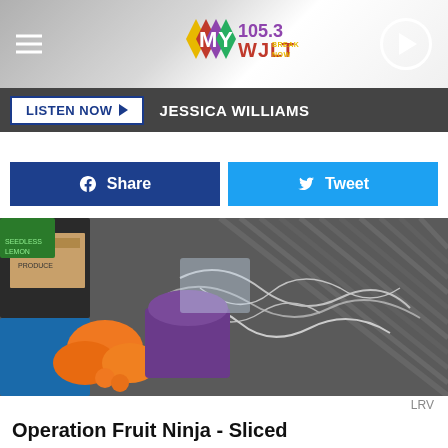[Figure (logo): MY 105.3 WJLT radio station logo with colorful diamond shapes]
LISTEN NOW ▶  JESSICA WILLIAMS
f  Share
🐦  Tweet
[Figure (photo): Truck bed with oranges, boxed groceries, and tangled wire/straps]
LRV
Operation Fruit Ninja - Sliced
I recruited two of our finest sales pros, Hannah and Ben, to join my mission to help reload the fruit. This is where the